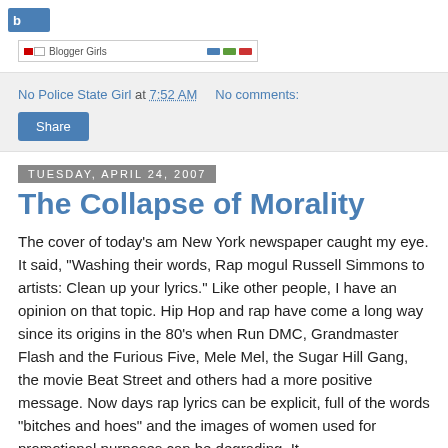[Figure (logo): Small blue logo/icon in top left]
[Figure (screenshot): Search bar with flag icon and navigation icons (blue, green, red)]
No Police State Girl at 7:52 AM   No comments:
[Figure (other): Share button (blue rounded rectangle)]
Tuesday, April 24, 2007
The Collapse of Morality
The cover of today's am New York newspaper caught my eye. It said, "Washing their words, Rap mogul Russell Simmons to artists: Clean up your lyrics." Like other people, I have an opinion on that topic. Hip Hop and rap have come a long way since its origins in the 80's when Run DMC, Grandmaster Flash and the Furious Five, Mele Mel, the Sugar Hill Gang, the movie Beat Street and others had a more positive message. Now days rap lyrics can be explicit, full of the words "bitches and hoes" and the images of women used for promotional purposes can be degrading. It